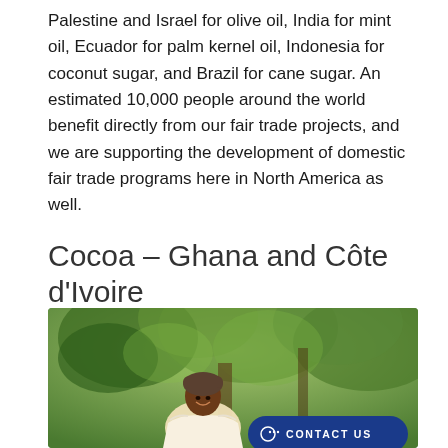Palestine and Israel for olive oil, India for mint oil, Ecuador for palm kernel oil, Indonesia for coconut sugar, and Brazil for cane sugar. An estimated 10,000 people around the world benefit directly from our fair trade projects, and we are supporting the development of domestic fair trade programs here in North America as well.
Cocoa – Ghana and Côte d'Ivoire
[Figure (photo): A smiling woman wearing a head wrap and white dress, photographed outdoors in a lush green setting with trees in the background, likely on a cocoa farm in Ghana or Côte d'Ivoire.]